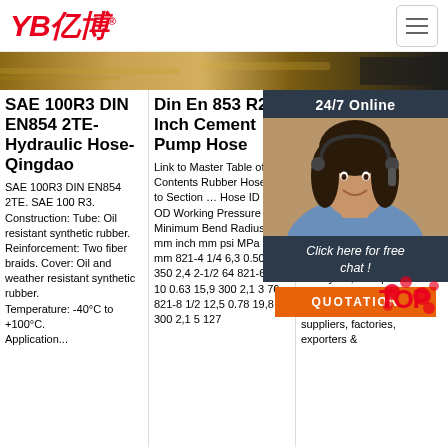YB亿博® [logo]
[Figure (photo): Brown/golden banner strip showing industrial hose textures]
SAE 100R3 DIN EN854 2TE-Hydraulic Hose-Qingdao
SAE 100R3 DIN EN854 2TE. SAE 100 R3. Construction: Tube: Oil resistant synthetic rubber. Reinforcement: Two fiber braids. Cover: Oil and weather resistant synthetic rubber. Temperature: -40°C to +100°C. Application...
Din En 853 R2 Inch Cement Pump Hose
Link to Master Table of Contents Rubber Hose Link to Section … Hose ID Hose OD Working Pressure Minimum Bend Radius inch mm inch mm psi MPa inch mm 821-4 1/4 6,3 0.50 12,7 350 2,4 2-1/2 64 821-6 3/8 10 0.63 15,9 300 2,1 3 76 821-8 1/2 12,5 0.78 19,8 300 2,1 5 127
[Figure (photo): Customer service agent with headset, 24/7 Online overlay panel with Click here for free chat and QUOTATION button, and TOP badge]
Fabric Braided Rubber Hose Manufacturers & Suppliers
fabric braided rubber hose manufacturer/supplier, China fabric braided rubber hose manufacturer & factory list, find qualified Chinese fabric braided rubber hose manufacturers, suppliers, factories, exporters &